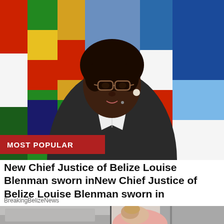[Figure (photo): Woman in dark judicial robes with glasses and pearl earring, standing in front of colorful international flags. She appears to be in an official setting.]
New Chief Justice of Belize Louise Blenman sworn inNew Chief Justice of Belize Louise Blenman sworn in
BreakingBelizeNews
[Figure (photo): Partial image of a woman in a pink shirt with head bowed, appearing distressed, near what looks like a kitchen or bathroom setting.]